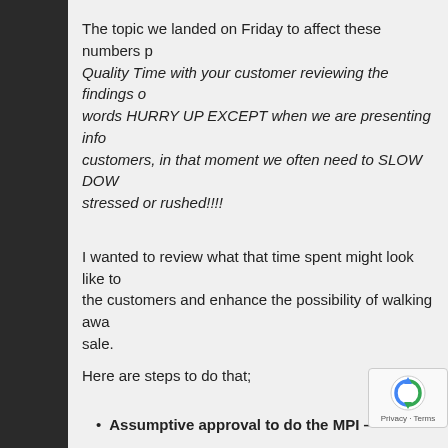The topic we landed on Friday to affect these numbers p Quality Time with your customer reviewing the findings o words HURRY UP EXCEPT when we are presenting info customers, in that moment we often need to SLOW DOW stressed or rushed!!!!
I wanted to review what that time spent might look like to the customers and enhance the possibility of walking awa sale.
Here are steps to do that;
Assumptive approval to do the MPI –
"While we have your car we will also do a cour brings anything to my attention, I will let you know ok? – m